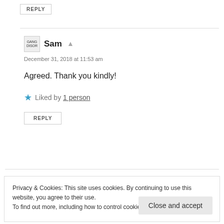REPLY
Sam
December 31, 2018 at 11:53 am
Agreed. Thank you kindly!
Liked by 1 person
REPLY
Privacy & Cookies: This site uses cookies. By continuing to use this website, you agree to their use. To find out more, including how to control cookies, see here: Cookie Policy
Close and accept